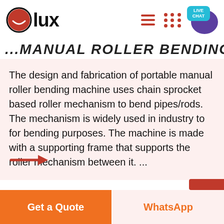[Figure (logo): Olux logo with red circle and smiley face icon followed by bold text 'lux']
...MANUAL ROLLER BENDING...
The design and fabrication of portable manual roller bending machine uses chain sprocket based roller mechanism to bend pipes/rods. The mechanism is widely used in industry to for bending purposes. The machine is made with a supporting frame that supports the roller mechanism between it. ...
[Figure (illustration): Red arrow pointing right]
Get a Quote | WhatsApp